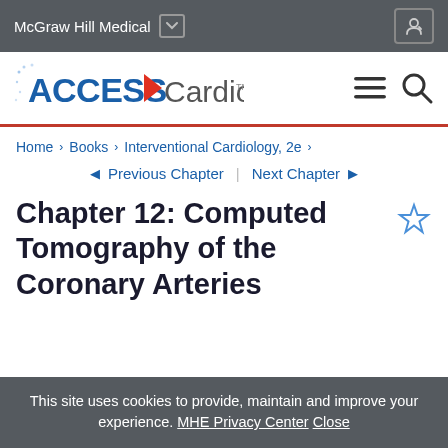McGraw Hill Medical
[Figure (logo): ACCESS Cardiology logo with red arrow and text]
Home > Books > Interventional Cardiology, 2e >
◄ Previous Chapter | Next Chapter ►
Chapter 12: Computed Tomography of the Coronary Arteries
This site uses cookies to provide, maintain and improve your experience. MHE Privacy Center Close